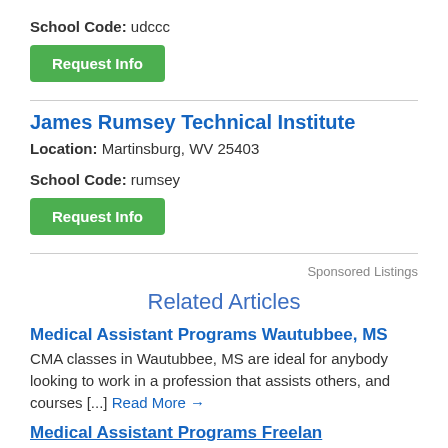School Code: udccc
Request Info
James Rumsey Technical Institute
Location: Martinsburg, WV 25403
School Code: rumsey
Request Info
Sponsored Listings
Related Articles
Medical Assistant Programs Wautubbee, MS
CMA classes in Wautubbee, MS are ideal for anybody looking to work in a profession that assists others, and courses [...] Read More →
Medical Assistant Programs...